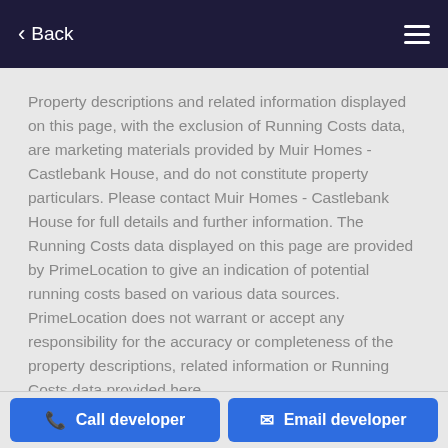Back
Property descriptions and related information displayed on this page, with the exclusion of Running Costs data, are marketing materials provided by Muir Homes - Castlebank House, and do not constitute property particulars. Please contact Muir Homes - Castlebank House for full details and further information. The Running Costs data displayed on this page are provided by PrimeLocation to give an indication of potential running costs based on various data sources. PrimeLocation does not warrant or accept any responsibility for the accuracy or completeness of the property descriptions, related information or Running Costs data provided here.
PrimeLocation > New homes for sale > Inverclyde > Port Glasgow > Hollybush Lane > Flat for sale - 1 bedroom